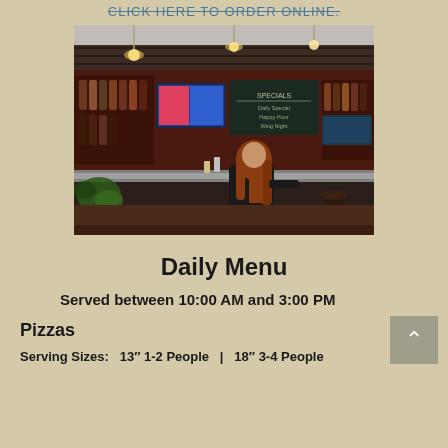CLICK HERE TO ORDER ONLINE.
[Figure (photo): Interior photo of a bar/restaurant with a bartender with long red hair behind the counter, bottles of liquor on shelves, TVs mounted on the wall, and pendant lighting.]
Daily Menu
Served between 10:00 AM and 3:00 PM
Pizzas
Serving Sizes:   13″ 1-2 People   |   18″ 3-4 People